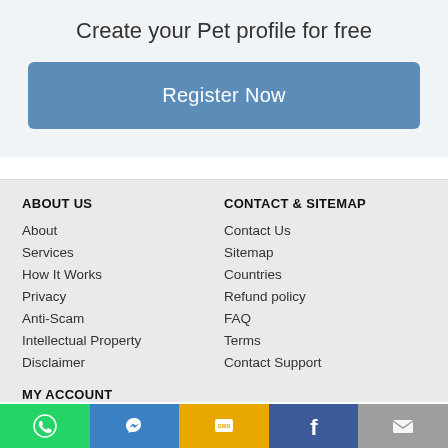Create your Pet profile for free
[Figure (other): Register Now button - blue rectangular button]
ABOUT US
About
Services
How It Works
Privacy
Anti-Scam
Intellectual Property
Disclaimer
CONTACT & SITEMAP
Contact Us
Sitemap
Countries
Refund policy
FAQ
Terms
Contact Support
MY ACCOUNT
[Figure (other): Bottom navigation bar with WhatsApp, Messenger, SMS, Facebook, and Mail icons]